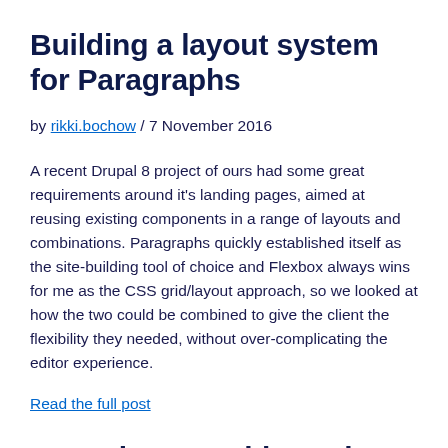Building a layout system for Paragraphs
by rikki.bochow / 7 November 2016
A recent Drupal 8 project of ours had some great requirements around it's landing pages, aimed at reusing existing components in a range of layouts and combinations. Paragraphs quickly established itself as the site-building tool of choice and Flexbox always wins for me as the CSS grid/layout approach, so we looked at how the two could be combined to give the client the flexibility they needed, without over-complicating the editor experience.
Read the full post
Base themes without the blast